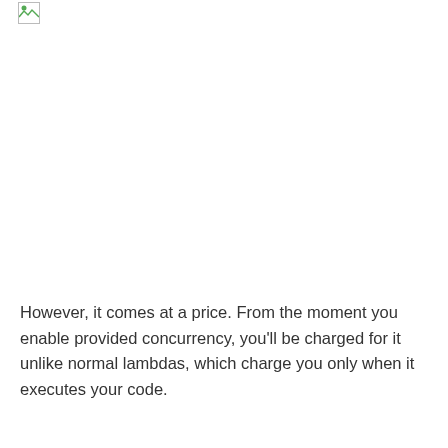[Figure (other): Small broken/placeholder image icon in the top-left corner]
However, it comes at a price. From the moment you enable provided concurrency, you'll be charged for it unlike normal lambdas, which charge you only when it executes your code.